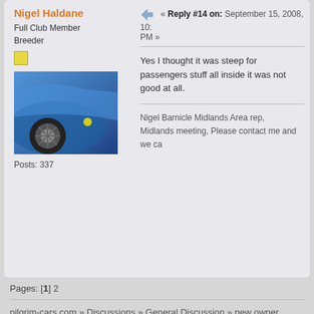Nigel Haldane
Full Club Member
Breeder
[Figure (photo): Avatar photo of a blue sports car showing wheel and body]
Posts: 337
« Reply #14 on: September 15, 2008, 10:... PM »
Yes I thought it was steep for passengers stuff all inside it was not good at all.
Nigel Barnicle Midlands Area rep,
Midlands meeting, Please contact me and we ca...
Pages: [1] 2
pilgrim-cars.com » Discussions » General Discussion » new owner
SMF 2.0.14 | SMF © 2017, Simple M...
XHTML   RSS   WAP2